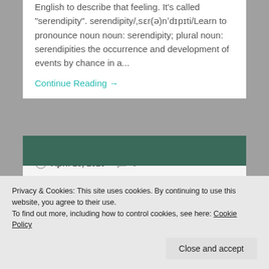English to describe that feeling. It's called "serendipity". serendipity/ˌsɛr(ə)nˈdɪpɪti/Learn to pronounce noun noun: serendipity; plural noun: serendipities the occurrence and development of events by chance in a...
Continue Reading →
April 13, 2020   0
Life Imitates Art…
Privacy & Cookies: This site uses cookies. By continuing to use this website, you agree to their use.
To find out more, including how to control cookies, see here: Cookie Policy
Close and accept